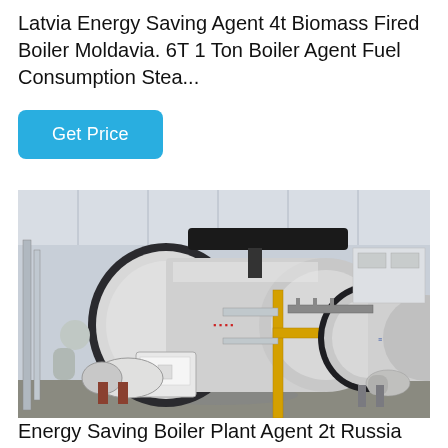Latvia Energy Saving Agent 4t Biomass Fired Boiler Moldavia. 6T 1 Ton Boiler Agent Fuel Consumption Stea...
Get Price
[Figure (photo): Industrial boiler plant interior showing two large horizontal fire-tube boilers in a factory/warehouse setting with yellow gas pipes, insulated exhaust ducts, and associated equipment on a concrete floor.]
Energy Saving Boiler Plant Agent 2t Russia